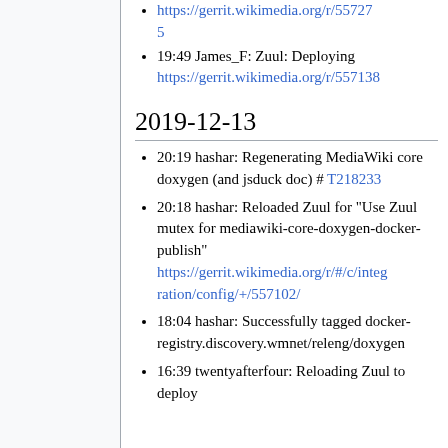https://gerrit.wikimedia.org/r/557275
19:49 James_F: Zuul: Deploying https://gerrit.wikimedia.org/r/557138
2019-12-13
20:19 hashar: Regenerating MediaWiki core doxygen (and jsduck doc) # T218233
20:18 hashar: Reloaded Zuul for "Use Zuul mutex for mediawiki-core-doxygen-docker-publish" https://gerrit.wikimedia.org/r/#/c/integration/config/+/557102/
18:04 hashar: Successfully tagged docker-registry.discovery.wmnet/releng/doxygen
16:39 twentyafterfour: Reloading Zuul to deploy